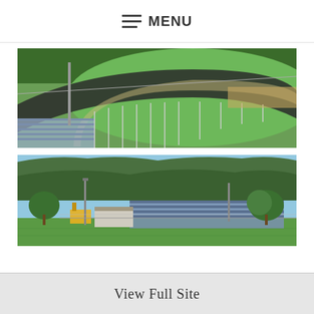MENU
[Figure (photo): Aerial view of a running track and sports field at a stadium, showing the dark asphalt track curving around a green field, with bleacher seating visible in the foreground and trees in the background.]
[Figure (photo): Wide-angle exterior view of a sports stadium with bleacher seating, a small building, construction equipment, and a green playing field in the foreground. A wooded hillside is visible in the background under a blue sky.]
View Full Site